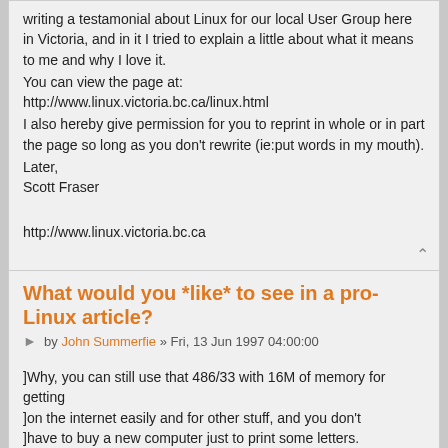writing a testamonial about Linux for our local User Group here in Victoria, and in it I tried to explain a little about what it means to me and why I love it.
You can view the page at:
http://www.linux.victoria.bc.ca/linux.html
I also hereby give permission for you to reprint in whole or in part the page so long as you don't rewrite (ie:put words in my mouth).
Later,
Scott Fraser

http://www.linux.victoria.bc.ca
What would you *like* to see in a pro-Linux article?
by John Summerfie » Fri, 13 Jun 1997 04:00:00
]Why, you can still use that 486/33 with 16M of memory for getting ]on the internet easily and for other stuff, and you don't ]have to buy a new computer just to print some letters.
Watch it sonnie.
I'm running Linux on a 486DX33 w 16 Mb.
Cheers
John Summerfield